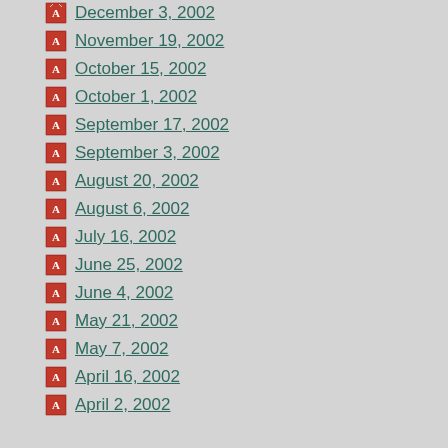December 3, 2002
November 19, 2002
October 15, 2002
October 1, 2002
September 17, 2002
September 3, 2002
August 20, 2002
August 6, 2002
July 16, 2002
June 25, 2002
June 4, 2002
May 21, 2002
May 7, 2002
April 16, 2002
April 2, 2002